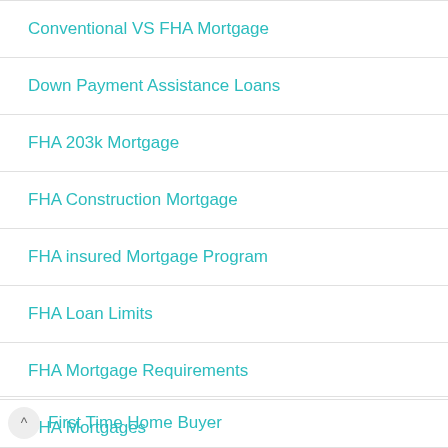Conventional VS FHA Mortgage
Down Payment Assistance Loans
FHA 203k Mortgage
FHA Construction Mortgage
FHA insured Mortgage Program
FHA Loan Limits
FHA Mortgage Requirements
FHA Mortgages
^ First Time Home Buyer